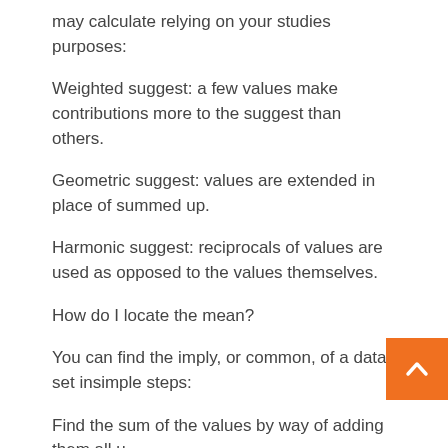may calculate relying on your studies purposes:
Weighted suggest: a few values make contributions more to the suggest than others.
Geometric suggest: values are extended in place of summed up.
Harmonic suggest: reciprocals of values are used as opposed to the values themselves.
How do I locate the mean?
You can find the imply, or common, of a data set insimple steps:
Find the sum of the values by way of adding them all u
Divide the sum through the number of values within the